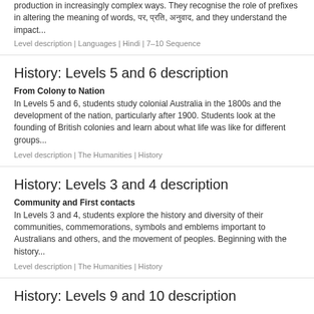production in increasingly complex ways. They recognise the role of prefixes in altering the meaning of words, परि, प्रति, अनुवाद, and they understand the impact...
Level description | Languages | Hindi | 7–10 Sequence
History: Levels 5 and 6 description
From Colony to Nation
In Levels 5 and 6, students study colonial Australia in the 1800s and the development of the nation, particularly after 1900. Students look at the founding of British colonies and learn about what life was like for different groups...
Level description | The Humanities | History
History: Levels 3 and 4 description
Community and First contacts
In Levels 3 and 4, students explore the history and diversity of their communities, commemorations, symbols and emblems important to Australians and others, and the movement of peoples. Beginning with the history...
Level description | The Humanities | History
History: Levels 9 and 10 description